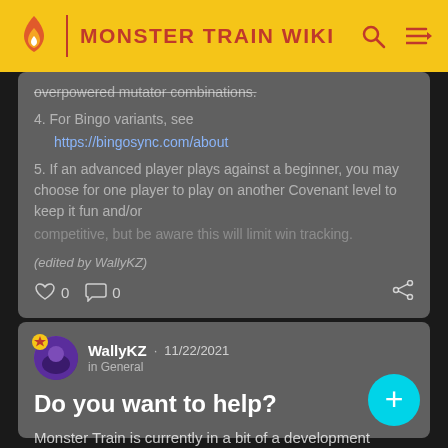MONSTER TRAIN WIKI
overpowered mutator combinations.
4. For Bingo variants, see https://bingosync.com/about
5. If an advanced player plays against a beginner, you may choose for one player to play on another Covenant level to keep it fun and/or competitive, but be aware this will limit win tracking.
(edited by WallyKZ)
WallyKZ · 11/22/2021 in General
Do you want to help?
Monster Train is currently in a bit of a development